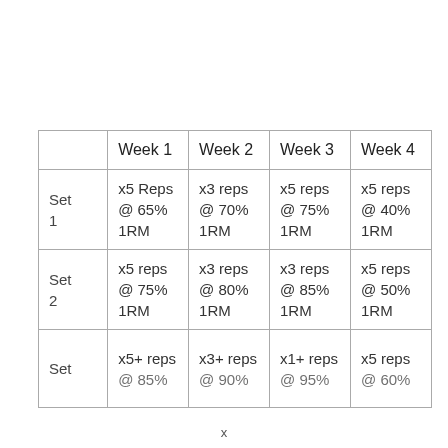|  | Week 1 | Week 2 | Week 3 | Week 4 |
| --- | --- | --- | --- | --- |
| Set 1 | x5 Reps @ 65% 1RM | x3 reps @ 70% 1RM | x5 reps @ 75% 1RM | x5 reps @ 40% 1RM |
| Set 2 | x5 reps @ 75% 1RM | x3 reps @ 80% 1RM | x3 reps @ 85% 1RM | x5 reps @ 50% 1RM |
| Set | x5+ reps @ 85% | x3+ reps @ 90% | x1+ reps @ 95% | x5 reps @ 60% |
x